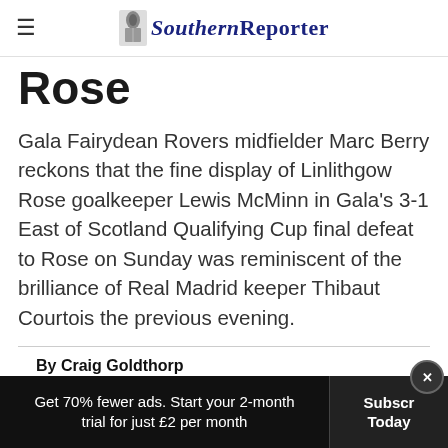Southern Reporter
Rose
Gala Fairydean Rovers midfielder Marc Berry reckons that the fine display of Linlithgow Rose goalkeeper Lewis McMinn in Gala's 3-1 East of Scotland Qualifying Cup final defeat to Rose on Sunday was reminiscent of the brilliance of Real Madrid keeper Thibaut Courtois the previous evening.
By Craig Goldthorp
Wednesday, 1st June 2022, 2:02 pm
Get 70% fewer ads. Start your 2-month trial for just £2 per month | Subscribe Today